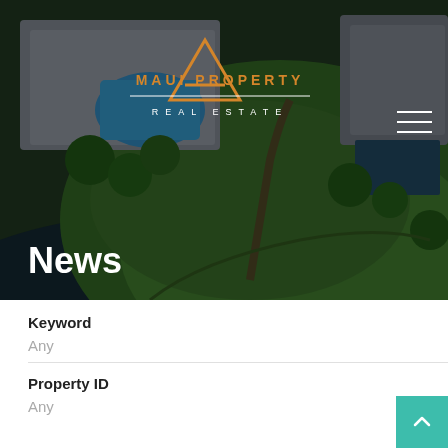[Figure (photo): Aerial drone photograph of a waterfront property with a house, swimming pool, palm trees, and green lawn, with dark water visible at the bottom. A real estate company logo overlay reads 'MAUI PROPERTY REAL ESTATE' with a triangular orange logo mark.]
News
Keyword
Any
Property ID
Any